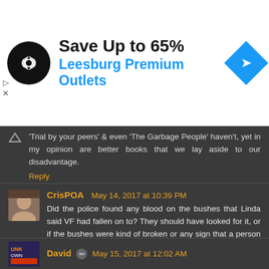[Figure (infographic): Advertisement banner: 'Save Up to 65% Leesburg Premium Outlets' with circular black logo and blue navigation diamond icon]
Trial by your peers' & even 'The Garbage People' haven't, yet in my opinion are better books that we lay aside to our disadvantage.
Reply
CrisPOA  May 14, 2017 at 10:39 PM
Did the police found any blood on the bushes that Linda said VF had fallen on to? They should have looked for it, or if the bushes were kind of broken or any sign that a person had fallen on them. That kind of expertise could corroborate or not with LK testimony no?
Reply
David  May 15, 2017 at 12:02 AM